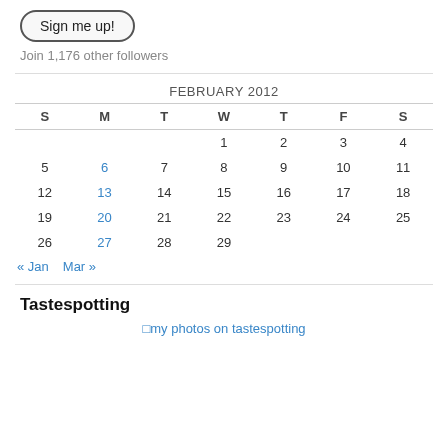Sign me up!
Join 1,176 other followers
| S | M | T | W | T | F | S |
| --- | --- | --- | --- | --- | --- | --- |
|  |  |  | 1 | 2 | 3 | 4 |
| 5 | 6 | 7 | 8 | 9 | 10 | 11 |
| 12 | 13 | 14 | 15 | 16 | 17 | 18 |
| 19 | 20 | 21 | 22 | 23 | 24 | 25 |
| 26 | 27 | 28 | 29 |  |  |  |
« Jan   Mar »
Tastespotting
my photos on tastespotting